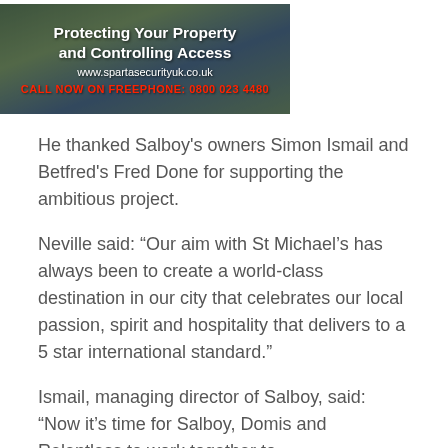[Figure (photo): Advertisement banner for Sparta Security UK showing outdoor security scene with text overlay: 'Protecting Your Property and Controlling Access', website www.spartasecurityuk.co.uk, and red text 'CALL NOW ON FREEPHONE: 0800 023 4480']
He thanked Salboy's owners Simon Ismail and Betfred's Fred Done for supporting the ambitious project.
Neville said: “Our aim with St Michael’s has always been to create a world-class destination in our city that celebrates our local passion, spirit and hospitality that delivers to a 5 star international standard.”
Ismail, managing director of Salboy, said: “Now it’s time for Salboy, Domis and Relentless to work together to